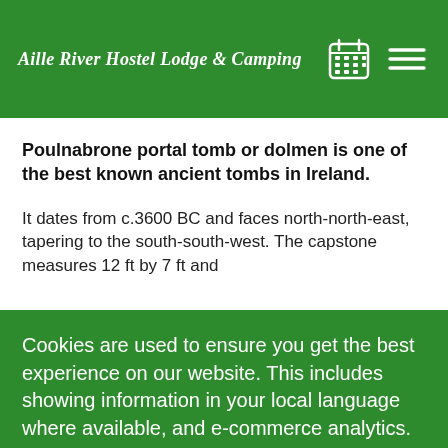Aille River Hostel Lodge & Camping
Poulnabrone portal tomb or dolmen is one of the best known ancient tombs in Ireland.
It dates from c.3600 BC and faces north-north-east, tapering to the south-south-west. The capstone measures 12 ft by 7 ft and
Cookies are used to ensure you get the best experience on our website. This includes showing information in your local language where available, and e-commerce analytics.
Cookie Policy
Manage
Allow Cookies